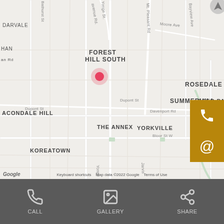[Figure (map): Google Maps screenshot showing Toronto neighborhoods including Deer Park, Forest Hill South, Summerhill, Rosedale, Yorkville, The Annex, Koreatown, Church and Wellesley, St. James Town with a location pin in Deer Park area. Golden phone and email contact buttons overlay the right side.]
Keyboard shortcuts   Map data ©2022 Google   Terms of Use
[Figure (infographic): Dark grey toolbar with CALL (phone icon), GALLERY (image icon), and SHARE (share icon) buttons]